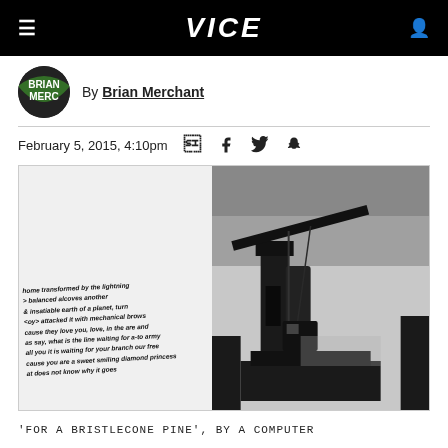VICE
By Brian Merchant
February 5, 2015, 4:10pm
[Figure (photo): Open book spread showing handwritten italic poetry text on left page and black-and-white industrial crane photograph on right page]
'FOR A BRISTLECONE PINE', BY A COMPUTER